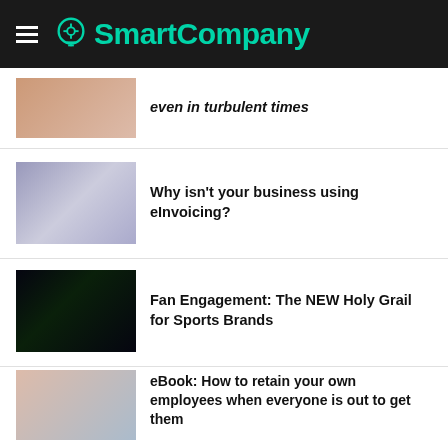SmartCompany
even in turbulent times
Why isn't your business using eInvoicing?
Fan Engagement: The NEW Holy Grail for Sports Brands
eBook: How to retain your own employees when everyone is out to get them
Reckon Presents: